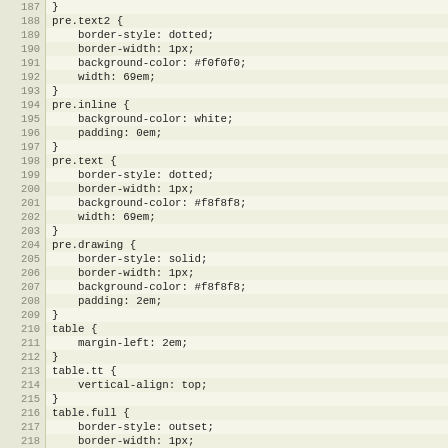[Figure (screenshot): Code editor screenshot showing CSS source lines 187-219. Lines show CSS rules for pre.text2, pre.inline, pre.text, pre.drawing, table, table.tt, table.full selectors with properties like border-style, border-width, background-color, width, padding, margin-left, vertical-align.]